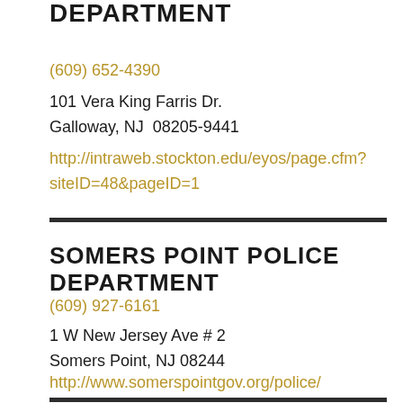DEPARTMENT
(609) 652-4390
101 Vera King Farris Dr.
Galloway, NJ  08205-9441
http://intraweb.stockton.edu/eyos/page.cfm?siteID=48&pageID=1
SOMERS POINT POLICE DEPARTMENT
(609) 927-6161
1 W New Jersey Ave # 2
Somers Point, NJ 08244
http://www.somerspointgov.org/police/